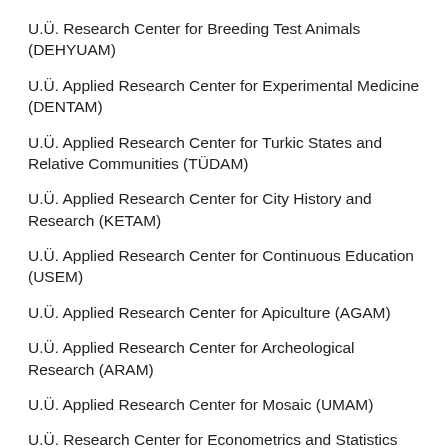U.Ü. Research Center for Breeding Test Animals (DEHYUAM)
U.Ü. Applied Research Center for Experimental Medicine (DENTAM)
U.Ü. Applied Research Center for Turkic States and Relative Communities (TÜDAM)
U.Ü. Applied Research Center for City History and Research (KETAM)
U.Ü. Applied Research Center for Continuous Education (USEM)
U.Ü. Applied Research Center for Apiculture (AGAM)
U.Ü. Applied Research Center for Archeological Research (ARAM)
U.Ü. Applied Research Center for Mosaic (UMAM)
U.Ü. Research Center for Econometrics and Statistics (EKOMER)